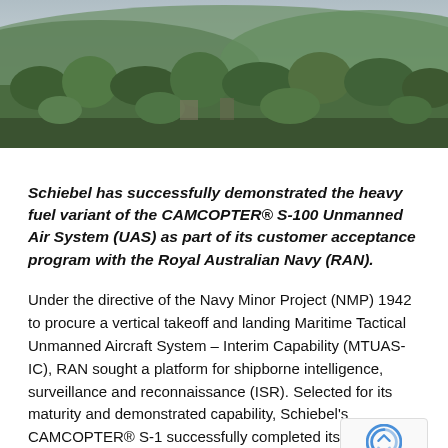[Figure (photo): Aerial or ground-level photograph of a landscape with trees, foliage, and hills in the background under an overcast sky.]
Schiebel has successfully demonstrated the heavy fuel variant of the CAMCOPTER® S-100 Unmanned Air System (UAS) as part of its customer acceptance program with the Royal Australian Navy (RAN).
Under the directive of the Navy Minor Project (NMP) 1942 to procure a vertical takeoff and landing Maritime Tactical Unmanned Aircraft System – Interim Capability (MTUAS-IC), RAN sought a platform for shipborne intelligence, surveillance and reconnaissance (ISR). Selected for its maturity and demonstrated capability, Schiebel's CAMCOPTER® S-1 successfully completed its flying program for the RAN